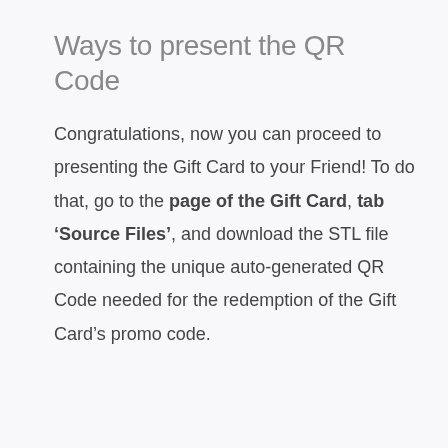Ways to present the QR Code
Congratulations, now you can proceed to presenting the Gift Card to your Friend! To do that, go to the page of the Gift Card, tab ‘Source Files’, and download the STL file containing the unique auto-generated QR Code needed for the redemption of the Gift Card’s promo code.